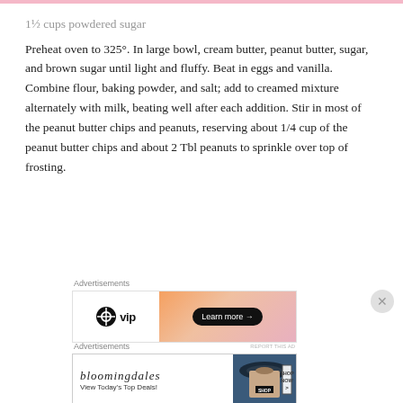1½ cups powdered sugar
Preheat oven to 325°. In large bowl, cream butter, peanut butter, sugar, and brown sugar until light and fluffy. Beat in eggs and vanilla. Combine flour, baking powder, and salt; add to creamed mixture alternately with milk, beating well after each addition. Stir in most of the peanut butter chips and peanuts, reserving about 1/4 cup of the peanut butter chips and about 2 Tbl peanuts to sprinkle over top of frosting.
[Figure (other): WordPress VIP advertisement banner with gradient orange/pink background and Learn more button]
[Figure (other): Bloomingdales advertisement banner: View Today's Top Deals! with SHOP NOW button and woman in hat]